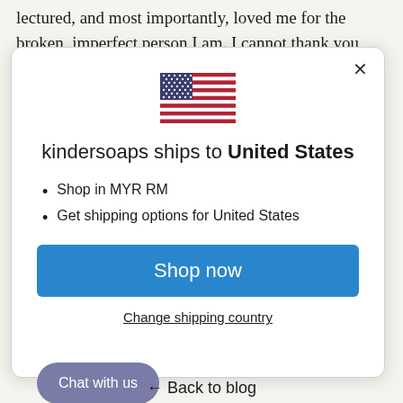lectured, and most importantly, loved me for the broken, imperfect person I am. I cannot thank you enough for this.
[Figure (illustration): A modal dialog box with a US flag icon, title 'kindersoaps ships to United States', bullet points, a blue Shop now button, and a Change shipping country link.]
kindersoaps ships to United States
Shop in MYR RM
Get shipping options for United States
Shop now
Change shipping country
Chat with us
← Back to blog